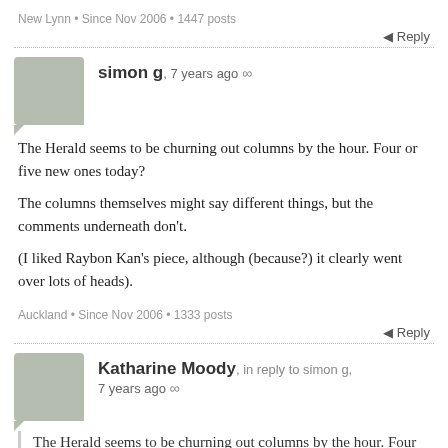New Lynn • Since Nov 2006 • 1447 posts
Reply
simon g, 7 years ago ∞
The Herald seems to be churning out columns by the hour. Four or five new ones today?

The columns themselves might say different things, but the comments underneath don't.

(I liked Raybon Kan's piece, although (because?) it clearly went over lots of heads).
Auckland • Since Nov 2006 • 1333 posts
Reply
Katharine Moody, in reply to simon g, 7 years ago ∞
The Herald seems to be churning out columns by the hour. Four or five new ones today?